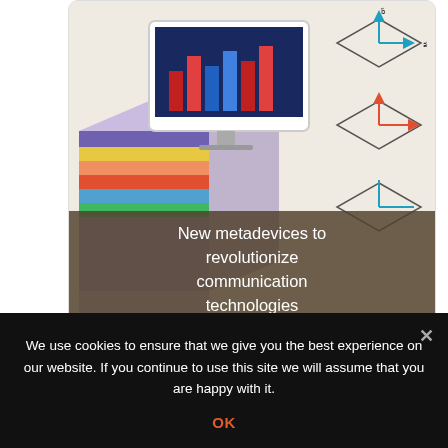[Figure (illustration): Card with illustration of a computer monitor showing charts, geometric diamond/rhombus diagrams with arrows, and a colorful layered material slab. Overlay text reads 'New metadevices to revolutionize communication technologies'.]
[Figure (screenshot): Card showing a screenshot of a document or software interface with German text 'Modularer Aufbau: Über Baustoffe & Konstruktionen zur Gebäudebewertung' and 'Darstellung der Ergebnisse entlang des Lebenszyklus einer Immobilie', with stacked bar charts in teal, yellow, and green colors.]
We use cookies to ensure that we give you the best experience on our website. If you continue to use this site we will assume that you are happy with it.
OK